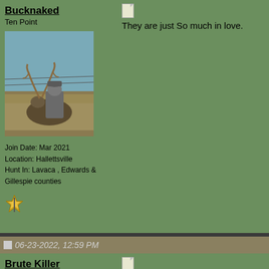Bucknaked
Ten Point
[Figure (photo): Hunter posing with a harvested antelope/deer in a field]
Join Date: Mar 2021
Location: Hallettsville
Hunt In: Lavaca , Edwards & Gillespie counties
[Figure (other): Small forum icon/badge]
[Figure (other): Document/post icon]
They are just So much in love.
06-23-2022, 12:59 PM
Brute Killer
Pope & Young
[Figure (photo): Partial avatar photo of person outdoors]
[Figure (other): Document/post icon]
Quote:
Originally Posted by Shinesintx
Yup, exactly the same kinda thoughts her teen...